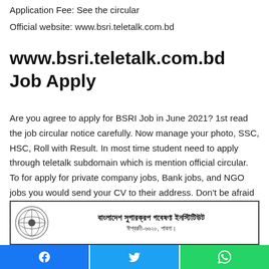Application Fee: See the circular
Official website: www.bsri.teletalk.com.bd
www.bsri.teletalk.com.bd Job Apply
Are you agree to apply for BSRI Job in June 2021? 1st read the job circular notice carefully. Now manage your photo, SSC, HSC, Roll with Result. In most time student need to apply through teletalk subdomain which is mention official circular. To for apply for private company jobs, Bank jobs, and NGO jobs you would send your CV to their address. Don't be afraid to apply via sending Email. Make sure you have Gmail or Yahoo mail to send your CV.
[Figure (other): Bangladesh Sugarcrop Research Institute official circular header with logo and Bengali text: বাংলাদেশ সুগারক্রপ গবেষণা ইনস্টিটিউট, ঈশ্বরদী-৬৬২০, পাবনা।]